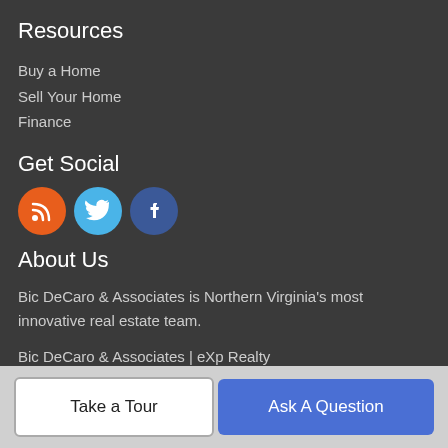Resources
Buy a Home
Sell Your Home
Finance
Get Social
[Figure (infographic): Three social media icons in circles: RSS (orange), Twitter (light blue), Facebook (dark blue)]
About Us
Bic DeCaro & Associates is Northern Virginia's most innovative real estate team.
Bic DeCaro & Associates | eXp Realty
20130 Lakeview Center Plaza, Suite 400, Ashburn, VA 20147
Take a Tour
Ask A Question